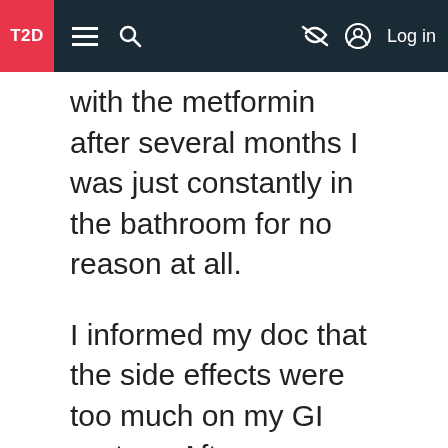T2D [navigation bar with menu, search, and log in controls]
with the metformin after several months I was just constantly in the bathroom for no reason at all.
I informed my doc that the side effects were too much on my GI system. After we discussed my metformin experience, he agreed and prescribed Victoza.